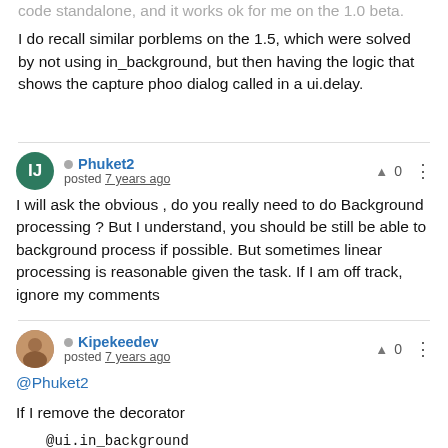code standalone, and it works ok for me on the 1.0 beta.
I do recall similar porblems on the 1.5, which were solved by not using in_background, but then having the logic that shows the capture phoo dialog called in a ui.delay.
Phuket2 posted 7 years ago
I will ask the obvious , do you really need to do Background processing ? But I understand, you should be still be able to background process if possible. But sometimes linear processing is reasonable given the task. If I am off track, ignore my comments
Kipekeedev posted 7 years ago
@Phuket2
If I remove the decorator
@ui.in_background